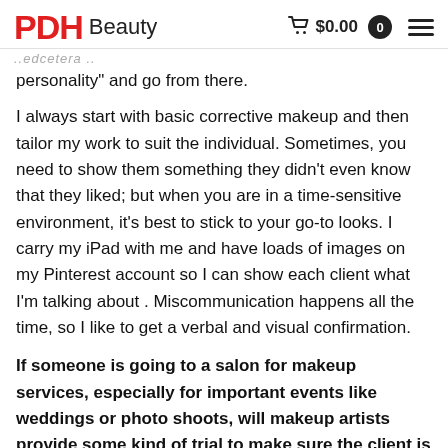PDH Beauty
..edcetera..
personality” and go from there.
I always start with basic corrective makeup and then tailor my work to suit the individual. Sometimes, you need to show them something they didn’t even know that they liked; but when you are in a time-sensitive environment, it’s best to stick to your go-to looks. I carry my iPad with me and have loads of images on my Pinterest account so I can show each client what I’m talking about . Miscommunication happens all the time, so I like to get a verbal and visual confirmation.
If someone is going to a salon for makeup services, especially for important events like weddings or photo shoots, will makeup artists provide some kind of trial to make sure the client is getting what he or she wants?
If it is an important situation, why wouldn’t you have a trial?